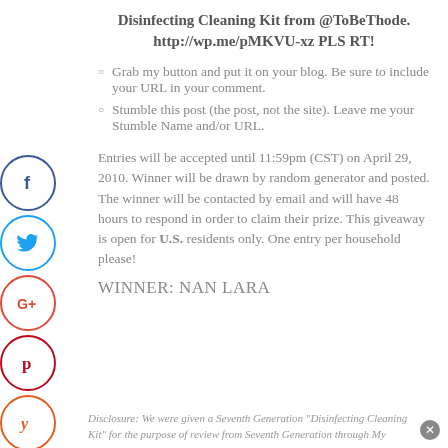Disinfecting Cleaning Kit from @ToBeThode. http://wp.me/pMKVU-xz PLS RT!
Grab my button and put it on your blog. Be sure to include your URL in your comment.
Stumble this post (the post, not the site). Leave me your Stumble Name and/or URL.
Entries will be accepted until 11:59pm (CST) on April 29, 2010. Winner will be drawn by random generator and posted. The winner will be contacted by email and will have 48 hours to respond in order to claim their prize. This giveaway is open for U.S. residents only. One entry per household please!
WINNER: NAN LARA
Disclosure: We were given a Seventh Generation "Disinfecting Cleaning Kit" for the purpose of review from Seventh Generation through My